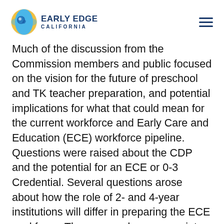[Figure (logo): Early Edge California logo with circular globe/child icon and bold text]
Much of the discussion from the Commission members and public focused on the vision for the future of preschool and TK teacher preparation, and potential implications for what that could mean for the current workforce and Early Care and Education (ECE) workforce pipeline. Questions were raised about the CDP and the potential for an ECE or 0-3 Credential. Several questions arose about how the role of 2- and 4-year institutions will differ in preparing the ECE workforce. There were also many points mentioned for the Commission's consideration, such as addressing equity and access of teacher preparation pathways, ECE Pilot